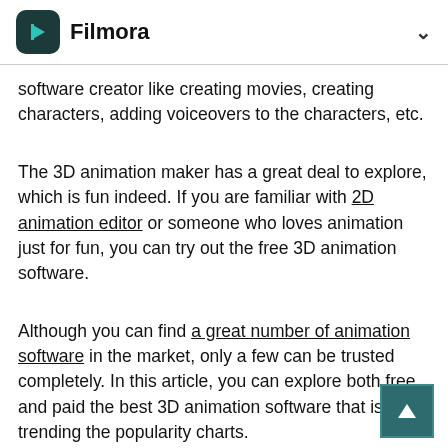Filmora
software creator like creating movies, creating characters, adding voiceovers to the characters, etc.
The 3D animation maker has a great deal to explore, which is fun indeed. If you are familiar with 2D animation editor or someone who loves animation just for fun, you can try out the free 3D animation software.
Although you can find a great number of animation software in the market, only a few can be trusted completely. In this article, you can explore both free and paid the best 3D animation software that is trending the popularity charts.
Part1: Best Free 3D Animation Software
Part2: Best Paid 3D Animation Software